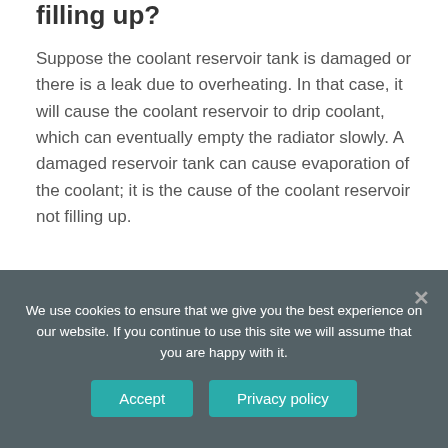filling up?
Suppose the coolant reservoir tank is damaged or there is a leak due to overheating. In that case, it will cause the coolant reservoir to drip coolant, which can eventually empty the radiator slowly. A damaged reservoir tank can cause evaporation of the coolant; it is the cause of the coolant reservoir not filling up.
Ive replaced the coolant reservoir w/ new sensor twice now but my low coolant light is still on. The coolant level is fine and im not
We use cookies to ensure that we give you the best experience on our website. If you continue to use this site we will assume that you are happy with it.
Accept
Privacy policy